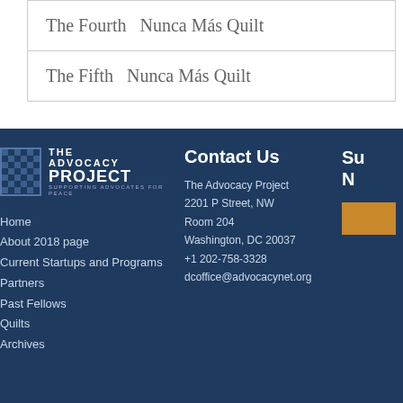| The Fourth  Nunca Más Quilt |
| The Fifth  Nunca Más Quilt |
[Figure (logo): The Advocacy Project logo with text 'THE ADVOCACY PROJECT - SUPPORTING ADVOCATES FOR PEACE']
Contact Us
Su
N
Home
About 2018 page
Current Startups and Programs
Partners
Past Fellows
Quilts
Archives
The Advocacy Project
2201 P Street, NW
Room 204
Washington, DC 20037
+1 202-758-3328
dcoffice@advocacynet.org